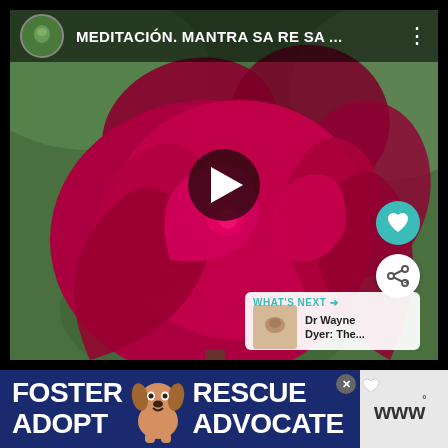[Figure (screenshot): Screenshot of a video player showing a close-up photo of a red rose with blurred green background. The video is titled 'MEDITACIÓN. MANTRA SA RE SA ...' with a circular profile avatar thumbnail, kebab menu icon, a play button overlay, a heart (like) button, a share button, and a 'What's Next' panel showing 'Dr Wayne Dyer: The...' in bottom right.]
[Figure (screenshot): Advertisement banner at bottom: dark blue background with white bold text 'FOSTER ADOPT' on left, dog photo in center, 'RESCUE ADVOCATE' on right, close button X, and a gray section on far right with 'WWW' text.]